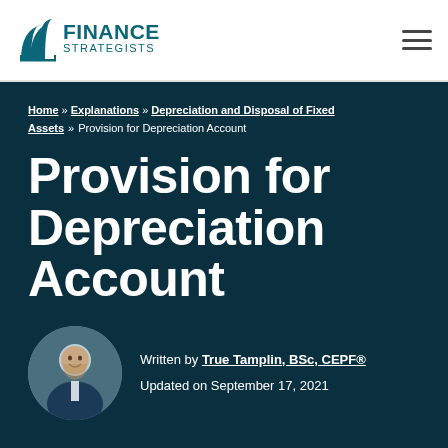Finance Strategists
Home » Explanations » Depreciation and Disposal of Fixed Assets » Provision for Depreciation Account
Provision for Depreciation Account
Written by True Tamplin, BSc, CEPF®
Updated on September 17, 2021